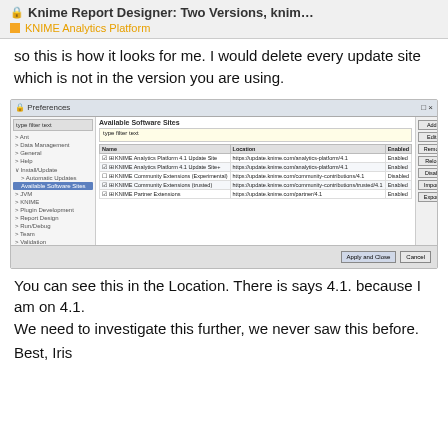🔒 Knime Report Designer: Two Versions, knim…
■ KNIME Analytics Platform
so this is how it looks for me. I would delete every update site which is not in the version you are using.
[Figure (screenshot): Screenshot of Preferences dialog showing Available Software Sites panel with multiple KNIME update site entries and their locations (all referencing 4.1), with Enabled/Disabled statuses. Buttons on right: Add, Edit, Remove, Reload, Disable, Import, Export. Apply and Close button at bottom.]
You can see this in the Location. There is says 4.1. because I am on 4.1.
We need to investigate this further, we never saw this before.
Best, Iris